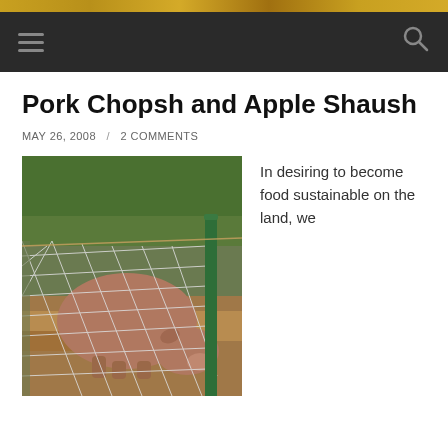Pork Chopsh and Apple Shaush
MAY 26, 2008 / 2 COMMENTS
[Figure (photo): A large brown/pink pig standing behind a wire fence in a dirt and straw enclosure with green plants in the background. A dark green metal fence post is visible.]
In desiring to become food sustainable on the land, we